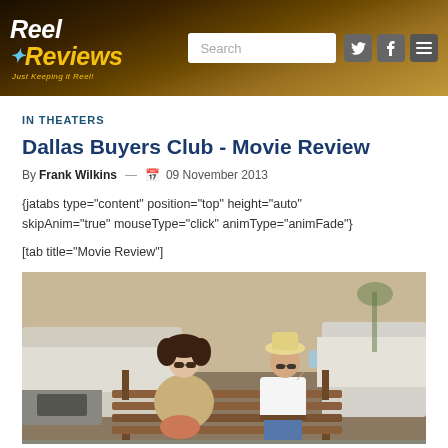Reel Reviews - Just Keeping it Reel | Search | Social icons | Menu
IN THEATERS
Dallas Buyers Club - Movie Review
By Frank Wilkins — 09 November 2013
{jatabs type="content" position="top" height="auto" skipAnim="true" mouseType="click" animType="animFade"}
[tab title="Movie Review"]
[Figure (photo): Two actors sitting on a wooden bench in front of a large vintage car. On the left, a person with curly hair wearing sunglasses and a fur coat. On the right, a slim man in a white t-shirt and jeans wearing a cowboy hat, drinking from a bottle.]